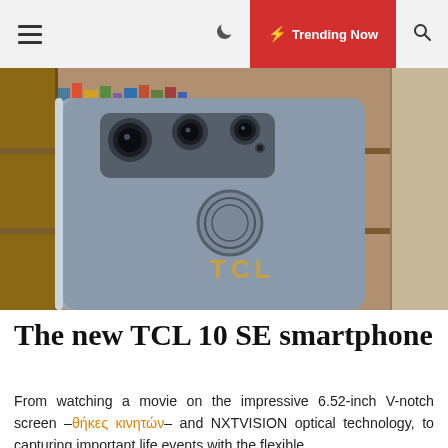☰  ☾  ⚡ Trending Now  🔍
[Figure (photo): Back view of a TCL 10 SE smartphone showing triple camera module and fingerprint sensor, with gold TCL logo, placed against a bookshelf background]
The new TCL 10 SE smartphone
From watching a movie on the impressive 6.52-inch V-notch screen –θήκες κινητών– and NXTVISION optical technology, to capturing important life events with the flexible...